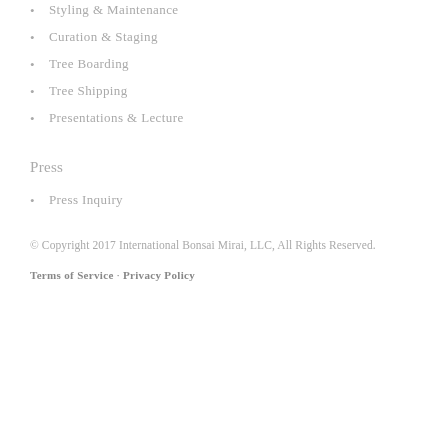Styling & Maintenance
Curation & Staging
Tree Boarding
Tree Shipping
Presentations & Lecture
Press
Press Inquiry
© Copyright 2017 International Bonsai Mirai, LLC, All Rights Reserved.
Terms of Service · Privacy Policy